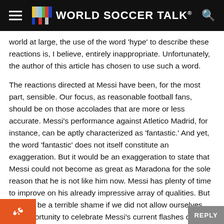WORLD SOCCER TALK
world at large, the use of the word 'hype' to describe these reactions is, I believe, entirely inappropriate. Unfortunately, the author of this article has chosen to use such a word.
The reactions directed at Messi have been, for the most part, sensible. Our focus, as reasonable football fans, should be on those accolades that are more or less accurate. Messi's performance against Atletico Madrid, for instance, can be aptly characterized as 'fantastic.' And yet, the word 'fantastic' does not itself constitute an exaggeration. But it would be an exaggeration to state that Messi could not become as great as Maradona for the sole reason that he is not like him now. Messi has plenty of time to improve on his already impressive array of qualities. But it would be a terrible shame if we did not allow ourselves the opportunity to celebrate Messi's current flashes of genius for fear that we may be contributing to some silly notion of 'hype.'